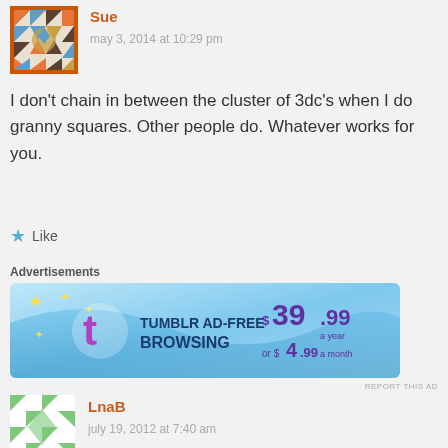[Figure (illustration): Avatar image for user Sue - quilted/patchwork pattern in orange, blue, brown, and teal colors]
Sue
may 3, 2014 at 10:29 pm
I don't chain in between the cluster of 3dc's when I do granny squares. Other people do. Whatever works for you.
★ Like
Advertisements
[Figure (screenshot): Tumblr ad banner: TUMBLR AD-FREE BROWSING $39.99 a year or $4.99 a month, blue gradient background with Tumblr t logo]
REPORT THIS AD
[Figure (illustration): Avatar image for user LnaB - quilted/patchwork pattern in green and white colors]
LnaB
july 19, 2012 at 7:40 am